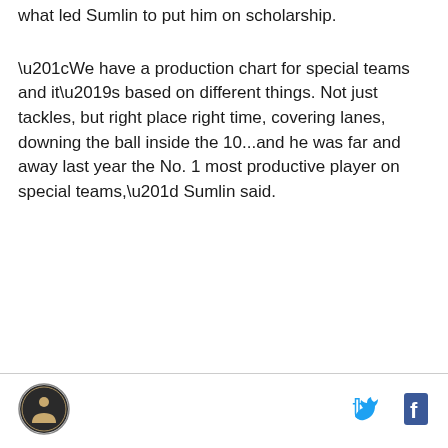what led Sumlin to put him on scholarship.
“We have a production chart for special teams and it’s based on different things. Not just tackles, but right place right time, covering lanes, downing the ball inside the 10...and he was far and away last year the No. 1 most productive player on special teams,” Sumlin said.
[Figure (logo): Circular logo with figure/person icon in center]
[Figure (logo): Twitter bird icon]
[Figure (logo): Facebook f icon]